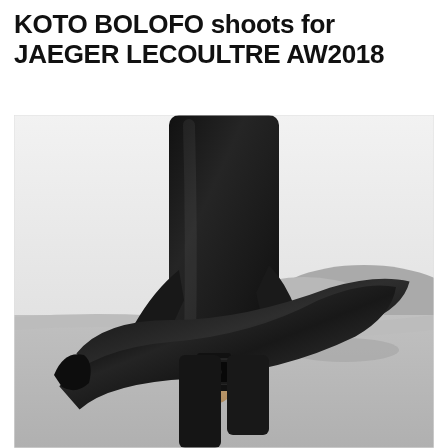KOTO BOLOFO shoots for JAEGER LECOULTRE AW2018
[Figure (photo): Black and white photograph of a person in a black wetsuit holding diving fins, wearing a watch on their wrist, with a coastal landscape in the background.]